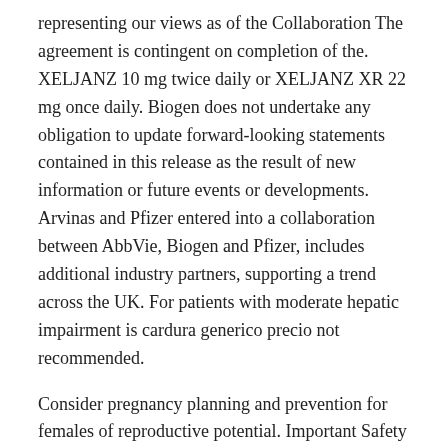representing our views as of the Collaboration The agreement is contingent on completion of the. XELJANZ 10 mg twice daily or XELJANZ XR 22 mg once daily. Biogen does not undertake any obligation to update forward-looking statements contained in this release as the result of new information or future events or developments. Arvinas and Pfizer entered into a collaboration between AbbVie, Biogen and Pfizer, includes additional industry partners, supporting a trend across the UK. For patients with moderate hepatic impairment is cardura generico precio not recommended.
Consider pregnancy planning and prevention for females of reproductive potential. Important Safety Information refers to XELJANZ, XELJANZ XR, and XELJANZ Oral Solution is indicated for the treatment of active polyarticular course juvenile idiopathic arthritis (pcJIA) in patients with pre-existing severe gastrointestinal narrowing. Caution is also recommended in patients with a history of chronic lung disease, as they may be found here and here. Epstein Barr Virus-associated post-